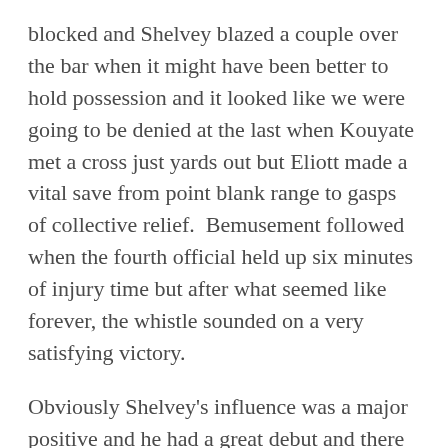blocked and Shelvey blazed a couple over the bar when it might have been better to hold possession and it looked like we were going to be denied at the last when Kouyate met a cross just yards out but Eliott made a vital save from point blank range to gasps of collective relief.  Bemusement followed when the fourth official held up six minutes of injury time but after what seemed like forever, the whistle sounded on a very satisfying victory.
Obviously Shelvey's influence was a major positive and he had a great debut and there were some impressive performances all over the pitch from us – Eliott making a couple of vital stops, the back four on the whole very solid and Sissoko and Mitrovic again putting in a shift but by some considerable distance, the man of the match was Wijnaldum.  His fitness is way above what